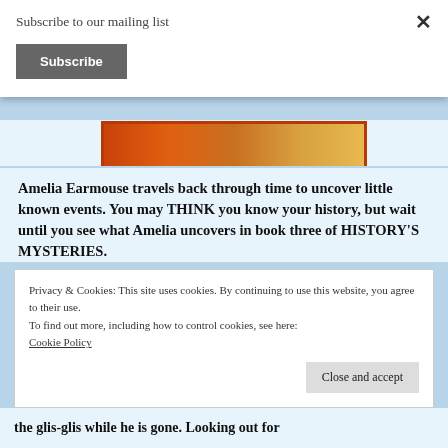Subscribe to our mailing list
Subscribe
[Figure (illustration): Partial view of a book cover with an orange and red border/frame, appearing to be a children's book cover with warm orange-brown tones.]
Amelia Earmouse travels back through time to uncover little known events. You may THINK you know your history, but wait until you see what Amelia uncovers in book three of HISTORY'S MYSTERIES.
Privacy & Cookies: This site uses cookies. By continuing to use this website, you agree to their use.
To find out more, including how to control cookies, see here:
Cookie Policy
Close and accept
the glis-glis while he is gone. Looking out for